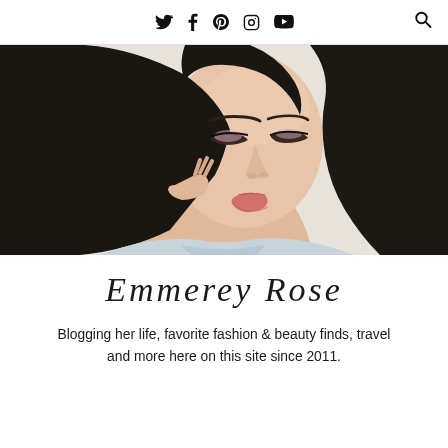Social media icons: Twitter, Facebook, Pinterest, Instagram, YouTube; Search icon
[Figure (photo): Close-up portrait photo of a young woman with long dark hair, wearing light blue top, looking downward, with pink/mauve eye makeup and subtle pink lip color, holding her hair with one hand. Light/neutral background.]
Emmerey Rose
Blogging her life, favorite fashion & beauty finds, travel and more here on this site since 2011.